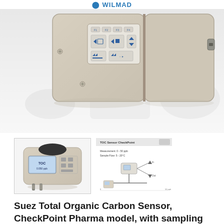WILMAD
[Figure (photo): Close-up photograph of a Suez Total Organic Carbon Sensor CheckPoint Pharma device, showing the front panel with a display screen containing blue navigation arrows and function buttons (F1, F2, F3, F4), on a beige/cream colored instrument housing. Background is blurred white/grey.]
[Figure (photo): Small thumbnail image of the Suez Total Organic Carbon Sensor CheckPoint Pharma device, full unit view, showing the complete beige instrument with LCD display and control buttons, on white background.]
[Figure (schematic): Small thumbnail showing a product specification sheet or diagram for the TOC Sensor, with line diagram of the device connected by cables, and some text specifications partially visible.]
Suez Total Organic Carbon Sensor, CheckPoint Pharma model, with sampling kit